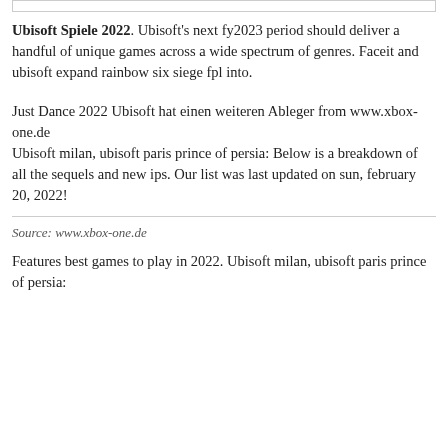Ubisoft Spiele 2022. Ubisoft’s next fy2023 period should deliver a handful of unique games across a wide spectrum of genres. Faceit and ubisoft expand rainbow six siege fpl into.
Just Dance 2022 Ubisoft hat einen weiteren Ableger from www.xbox-one.de
Ubisoft milan, ubisoft paris prince of persia: Below is a breakdown of all the sequels and new ips. Our list was last updated on sun, february 20, 2022!
Source: www.xbox-one.de
Features best games to play in 2022. Ubisoft milan, ubisoft paris prince of persia: